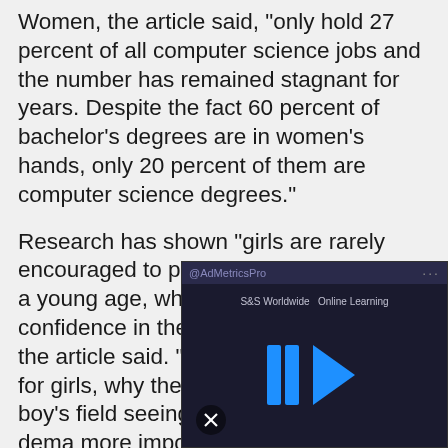Women, the article said, "only hold 27 percent of all computer science jobs and the number has remained stagnant for years. Despite the fact 60 percent of bachelor’s degrees are in women’s hands, only 20 percent of them are computer science degrees."
Research has shown "girls are rarely encouraged to pursue math or science at a young age, which ultimately destroys confidence in their abilities to succeed," the article said. "If they’re told that it’s not for girls, why would a child believe they had the inte[rest] over a boy’s field[?] seeing what the [world] makes the dema[nd] more important
[Figure (screenshot): An ad overlay video player from AdMetricsPro showing S&S Worldwide Online Learning with blue play arrows on a dark background, with a mute button in the bottom left.]